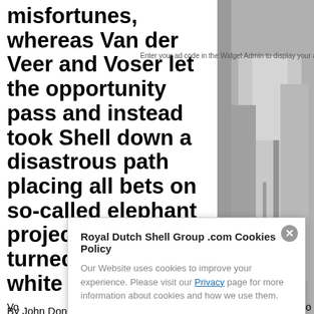misfortunes, whereas Van der Veer and Voser let the opportunity pass and instead took Shell down a disastrous path placing all bets on so-called elephant projects that turned out to be white elephants.
By John Donovan
In my view, the last Shell executive director/Chairman who had any gumption and plain commonsense was Sir John Jennings.
Since his time, long term Shell shareholders have witnessed a parade of hopelessly inc... bo...
[Figure (photo): Black and white photograph of a person, partially visible on the right side of the page]
Enter your ad code in the Widget Admin to display your ads here
Royal Dutch Shell Group .com Cookies Policy
Our Website uses cookies to improve your experience. Please visit our Privacy page for more information about cookies and how we use them.